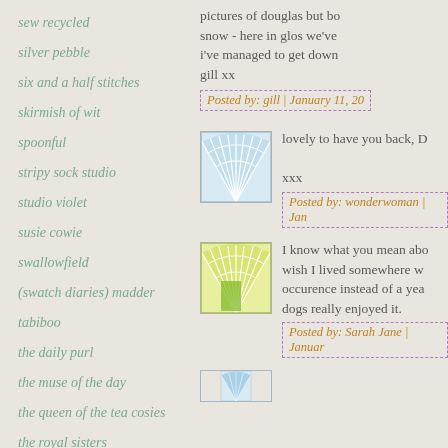sew recycled
silver pebble
six and a half stitches
skirmish of wit
spoonful
stripy sock studio
studio violet
susie cowie
swallowfield
(swatch diaries) madder
tabiboo
the daily purl
the muse of the day
the queen of the tea cosies
the royal sisters
pictures of douglas but bo snow - here in glos we've i've managed to get down gill xx
Posted by: gill | January 11, 20
[Figure (illustration): Blue/teal fan or shell pattern illustration thumbnail]
lovely to have you back, D xxx
Posted by: wonderwoman | Jan
[Figure (illustration): Yellow-green sunburst/fan pattern illustration thumbnail]
I know what you mean abo wish I lived somewhere w occurence instead of a yea dogs really enjoyed it.
Posted by: Sarah Jane | Januar
[Figure (illustration): Blue/teal partial fan pattern illustration thumbnail (partially visible)]